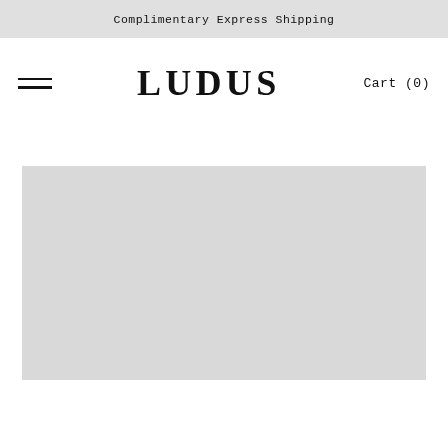Complimentary Express Shipping
LUDUS
Cart (0)
[Figure (photo): Large light gray placeholder image area, likely product or hero image]